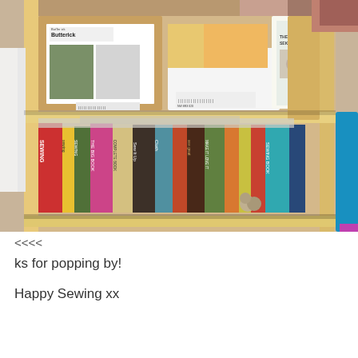[Figure (photo): A photograph of a wooden bookshelf with sewing pattern boxes and sewing books. Top shelf has Butterick and Simplicity pattern boxes along with other craft supplies. Bottom shelf is filled with sewing books including titles like 'Sewing', 'Sew It Up', 'Cloth', 'The Sewing Book', and others. Background shows additional craft supplies and storage bins.]
<<<<
ks for popping by!
Happy Sewing xx